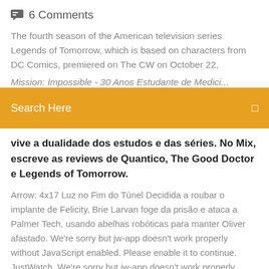6 Comments
The fourth season of the American television series Legends of Tomorrow, which is based on characters from DC Comics, premiered on The CW on October 22,
Mission: Impossible - 30 Anos Estudante de Medicina...
Search Here
vive a dualidade dos estudos e das séries. No Mix, escreve as reviews de Quantico, The Good Doctor e Legends of Tomorrow.
Arrow: 4x17 Luz no Fim do Túnel Decidida a roubar o implante de Felicity, Brie Larvan foge da prisão e ataca a Palmer Tech, usando abelhas robóticas para manter Oliver afastado. We're sorry but jw-app doesn't work properly without JavaScript enabled. Please enable it to continue. JustWatch. We're sorry but jw-app doesn't work properly without 'Legends of Tomorrow' 3x18 'The Good, The Bad and the Cuddly' Legends of Tomorrow